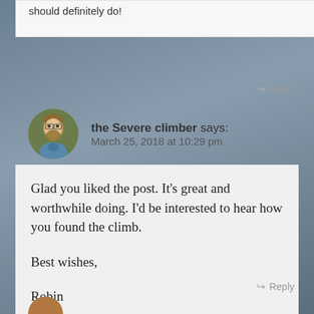should definitely do!
↳ Reply
the Severe climber says: March 25, 2018 at 10:29 pm
Glad you liked the post. It’s great and worthwhile doing. I’d be interested to hear how you found the climb.

Best wishes,

Robin
↳ Reply